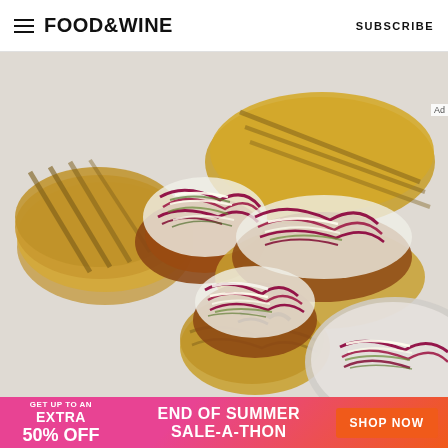FOOD&WINE  SUBSCRIBE
[Figure (photo): Overhead view of pulled pork or BBQ sandwiches topped with red and green coleslaw on toasted bread, arranged on a white surface, with a plate of coleslaw visible at bottom right.]
[Figure (infographic): Advertisement banner: GET UP TO AN EXTRA 50% OFF  |  END OF SUMMER SALE-A-THON  |  SHOP NOW button]